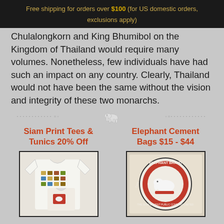Free shipping for orders over $100 (for US domestic orders, exclusions apply)
Chulalongkorn and King Bhumibol on the Kingdom of Thailand would require many volumes. Nonetheless, few individuals have had such an impact on any country. Clearly, Thailand would not have been the same without the vision and integrity of these two monarchs.
[Figure (illustration): Decorative divider with small elephant icon centered between dotted lines]
Siam Print Tees & Tunics 20% Off
Elephant Cement Bags $15 - $44
[Figure (photo): White t-shirts with Siam print designs including colorful stamp patterns and an elephant graphic]
[Figure (photo): Elephant Brand cement bag from The Siam Cement Public Company Limited with circular red logo featuring white elephant]